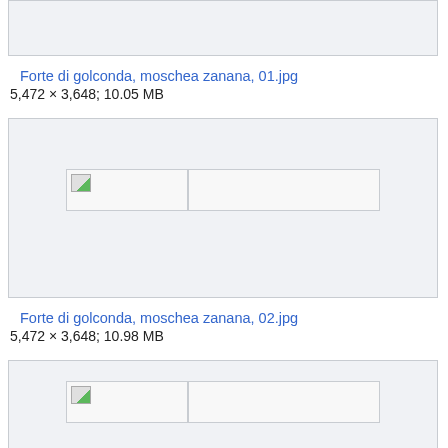[Figure (photo): Truncated image box at top of page (partially visible)]
Forte di golconda, moschea zanana, 01.jpg
5,472 × 3,648; 10.05 MB
[Figure (photo): Image placeholder with broken image icon for Forte di golconda, moschea zanana, 02.jpg]
Forte di golconda, moschea zanana, 02.jpg
5,472 × 3,648; 10.98 MB
[Figure (photo): Image placeholder with broken image icon (partially visible at bottom)]